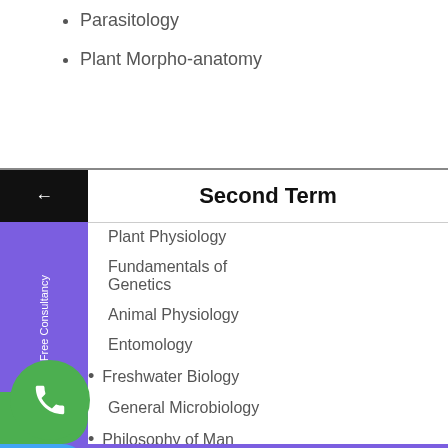Parasitology
Plant Morpho-anatomy
Second Term
Plant Physiology
Fundamentals of Genetics
Animal Physiology
Entomology
Freshwater Biology
General Microbiology
Philosophy of Man
Developmental Biology